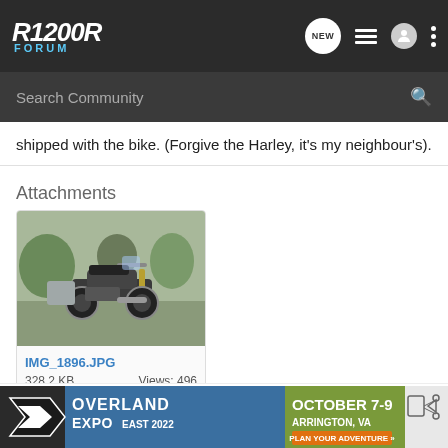R1200R FORUM — Search Community
shipped with the bike. (Forgive the Harley, it's my neighbour's).
Attachments
[Figure (photo): Motorcycle (BMW R1200R with panniers) parked outdoors, with a Harley in background]
IMG_1896.JPG
328.2 KB    Views: 496
Neillz1200R
[Figure (infographic): Overland Expo East 2022 advertisement banner — October 7-9, Arrington, VA — Plan Your Adventure]